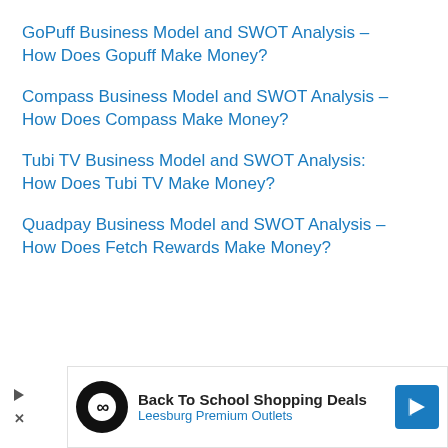GoPuff Business Model and SWOT Analysis – How Does Gopuff Make Money?
Compass Business Model and SWOT Analysis – How Does Compass Make Money?
Tubi TV Business Model and SWOT Analysis: How Does Tubi TV Make Money?
Quadpay Business Model and SWOT Analysis – How Does Fetch Rewards Make Money?
[Figure (other): Advertisement banner for Leesburg Premium Outlets Back To School Shopping Deals with logo, play button, and navigation arrow]